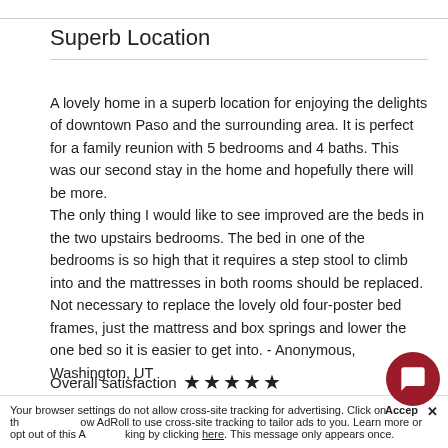Superb Location
A lovely home in a superb location for enjoying the delights of downtown Paso and the surrounding area. It is perfect for a family reunion with 5 bedrooms and 4 baths. This was our second stay in the home and hopefully there will be more.
The only thing I would like to see improved are the beds in the two upstairs bedrooms. The bed in one of the bedrooms is so high that it requires a step stool to climb into and the mattresses in both rooms should be replaced. Not necessary to replace the lovely old four-poster bed frames, just the mattress and box springs and lower the one bed so it is easier to get into. - Anonymous, Washington, UT
Overall satisfaction ★★★★★
Property condition ★★★★☆
Your browser settings do not allow cross-site tracking for advertising. Click on the arrow below AdRoll to use cross-site tracking to tailor ads to you. Learn more or opt out of this AdRoll tracking by clicking here. This message only appears once.